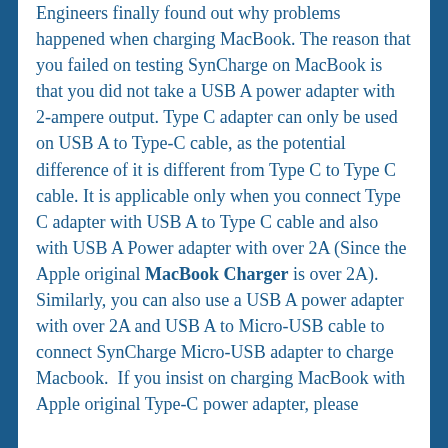Engineers finally found out why problems happened when charging MacBook. The reason that you failed on testing SynCharge on MacBook is that you did not take a USB A power adapter with 2-ampere output. Type C adapter can only be used on USB A to Type-C cable, as the potential difference of it is different from Type C to Type C cable. It is applicable only when you connect Type C adapter with USB A to Type C cable and also with USB A Power adapter with over 2A (Since the Apple original MacBook Charger is over 2A). Similarly, you can also use a USB A power adapter with over 2A and USB A to Micro-USB cable to connect SynCharge Micro-USB adapter to charge Macbook. If you insist on charging MacBook with Apple original Type-C power adapter, please